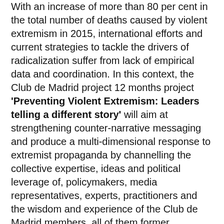With an increase of more than 80 per cent in the total number of deaths caused by violent extremism in 2015, international efforts and current strategies to tackle the drivers of radicalization suffer from lack of empirical data and coordination. In this context, the Club de Madrid project 12 months project 'Preventing Violent Extremism: Leaders telling a different story' will aim at strengthening counter-narrative messaging and produce a multi-dimensional response to extremist propaganda by channelling the collective expertise, ideas and political leverage of, policymakers, media representatives, experts, practitioners and the wisdom and experience of the Club de Madrid members, all of them former Presidents and Prime Ministers democratically elected in their countries, many of whom have already faced the problem of violent extremism.
One of the main outcomes of the project will be a scientific and data based recommendations/guidelines on how to effectively create and apply positive messaging and which tools and strategies are more effective to counter violent extremism. The beneficiaries of the project will be at...